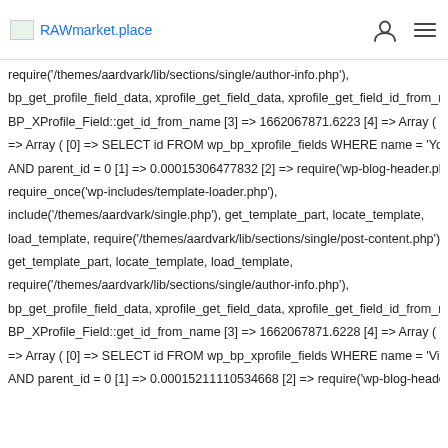RAWmarket.place
load_template, require('/themes/aardvark/lib/sections/single/post-content.php'), get_template_part, locate_template, load_template,
require('/themes/aardvark/lib/sections/single/author-info.php'),
bp_get_profile_field_data, xprofile_get_field_data, xprofile_get_field_id_from_name,
BP_XProfile_Field::get_id_from_name [3] => 1662067871.6223 [4] => Array ( ) [97]
=> Array ( [0] => SELECT id FROM wp_bp_xprofile_fields WHERE name = 'YouTube'
AND parent_id = 0 [1] => 0.00015306477832 [2] => require('wp-blog-header.php'),
require_once('wp-includes/template-loader.php'),
include('/themes/aardvark/single.php'), get_template_part, locate_template,
load_template, require('/themes/aardvark/lib/sections/single/post-content.php'),
get_template_part, locate_template, load_template,
require('/themes/aardvark/lib/sections/single/author-info.php'),
bp_get_profile_field_data, xprofile_get_field_data, xprofile_get_field_id_from_name,
BP_XProfile_Field::get_id_from_name [3] => 1662067871.6228 [4] => Array ( ) [98]
=> Array ( [0] => SELECT id FROM wp_bp_xprofile_fields WHERE name = 'Vimeo'
AND parent_id = 0 [1] => 0.00015211110534668 [2] => require('wp-blog-header.php'),